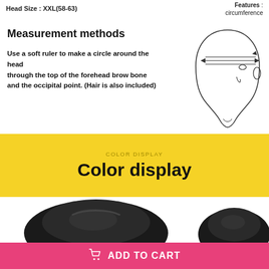Head Size: XXL(58-63)   Features: circumference
Measurement methods
Use a soft ruler to make a circle around the head through the top of the forehead brow bone and the occipital point. (Hair is also included)
[Figure (illustration): Side profile line drawing of a human head showing measurement line around the forehead/brow bone area with arrows indicating measurement direction]
COLOR DISPLAY
Color display
[Figure (photo): Two black motorcycle/bicycle helmets photographed on white background]
ADD TO CART